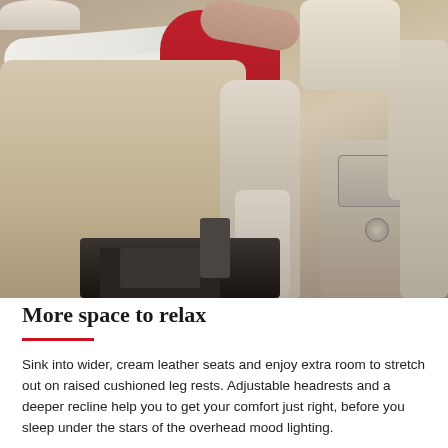[Figure (photo): Photograph of a woman in a red top and white pants reclining in a business class airline seat with cream leather upholstery. The seat features a raised cushioned leg rest and an armrest/divider between seats. Adjacent seat console and panels visible on the right.]
More space to relax
Sink into wider, cream leather seats and enjoy extra room to stretch out on raised cushioned leg rests. Adjustable headrests and a deeper recline help you to get your comfort just right, before you sleep under the stars of the overhead mood lighting.